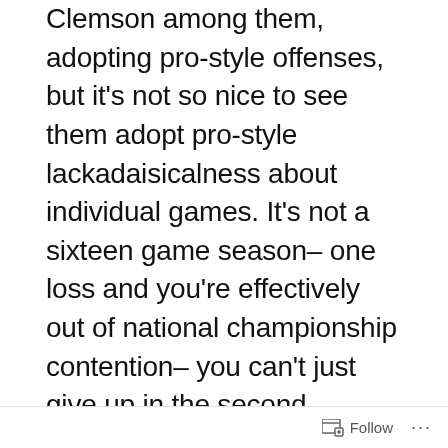Clemson among them, adopting pro-style offenses, but it's not so nice to see them adopt pro-style lackadaisicalness about individual games. It's not a sixteen game season– one loss and you're effectively out of national championship contention– you can't just give up in the second quarter. That game might've been worse than the Orange Bowl loss to West Virginia.
The Bears lost to The NFL Team From Washington, D.C. The offense looked fine, even with Cutler out for much of
Follow ···